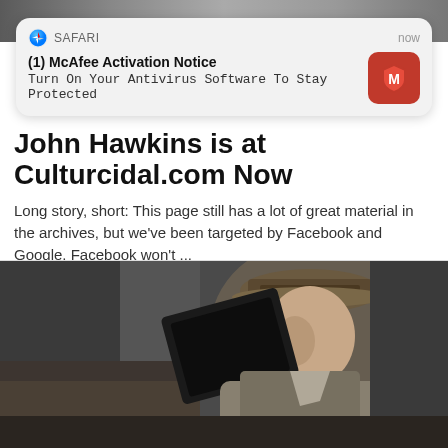[Figure (screenshot): Safari browser notification card from McAfee: '(1) McAfee Activation Notice - Turn On Your Antivirus Software To Stay Protected']
John Hawkins is at Culturcidal.com Now
Long story, short: This page still has a lot of great material in the archives, but we've been targeted by Facebook and Google. Facebook won't ...
[Figure (photo): Man wearing a fedora hat, holding up a black laptop, looking toward camera, in a grey-toned setting]